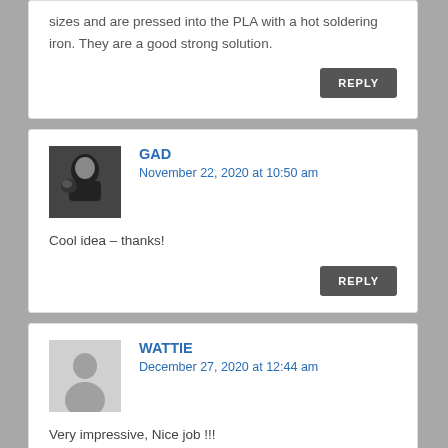sizes and are pressed into the PLA with a hot soldering iron. They are a good strong solution.
REPLY
GAD
November 22, 2020 at 10:50 am
Cool idea – thanks!
REPLY
WATTIE
December 27, 2020 at 12:44 am
Very impressive, Nice job !!!